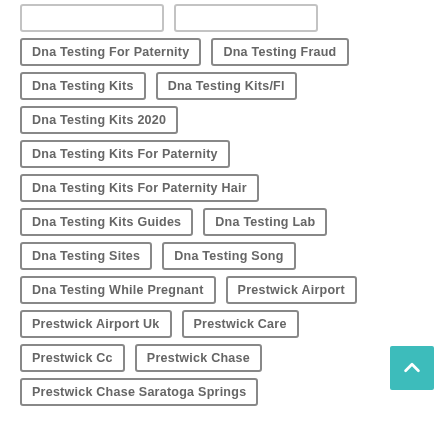Dna Testing For Paternity
Dna Testing Fraud
Dna Testing Kits
Dna Testing Kits/Fl
Dna Testing Kits 2020
Dna Testing Kits For Paternity
Dna Testing Kits For Paternity Hair
Dna Testing Kits Guides
Dna Testing Lab
Dna Testing Sites
Dna Testing Song
Dna Testing While Pregnant
Prestwick Airport
Prestwick Airport Uk
Prestwick Care
Prestwick Cc
Prestwick Chase
Prestwick Chase Saratoga Springs